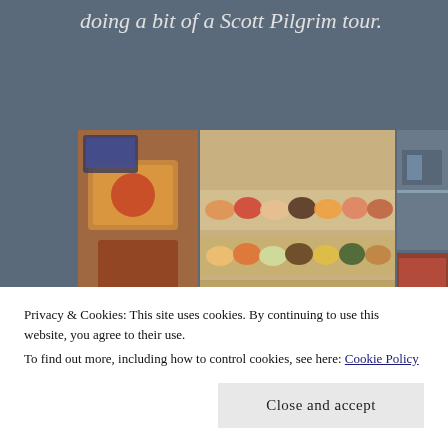doing a bit of a Scott Pilgrim tour.
[Figure (photo): Collage of 5 photos showing food items (pizza box, pastries/sweets display counter), street scenes (exterior of Honest Ed's store sign, a colorful Palace store front with street crowd and SUV), and urban buildings.]
Privacy & Cookies: This site uses cookies. By continuing to use this website, you agree to their use.
To find out more, including how to control cookies, see here: Cookie Policy
Close and accept